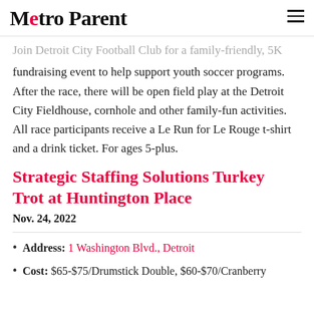Metro Parent
Join Detroit City Football Club for a family-friendly, 5K fundraising event to help support youth soccer programs. After the race, there will be open field play at the Detroit City Fieldhouse, cornhole and other family-fun activities. All race participants receive a Le Run for Le Rouge t-shirt and a drink ticket. For ages 5-plus.
Strategic Staffing Solutions Turkey Trot at Huntington Place
Nov. 24, 2022
Address: 1 Washington Blvd., Detroit
Cost: $65-$75/Drumstick Double, $60-$70/Cranberry